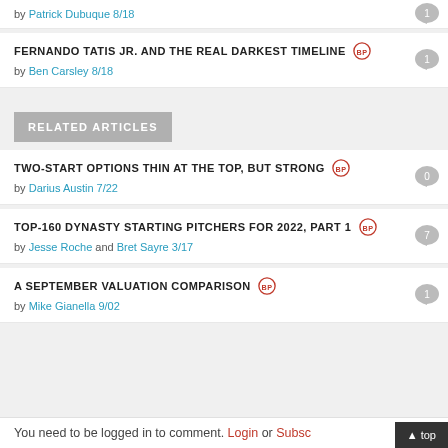by Patrick Dubuque 8/18
FERNANDO TATIS JR. AND THE REAL DARKEST TIMELINE
by Ben Carsley 8/18
RELATED ARTICLES
TWO-START OPTIONS THIN AT THE TOP, BUT STRONG
by Darius Austin 7/22
TOP-160 DYNASTY STARTING PITCHERS FOR 2022, PART 1
by Jesse Roche and Bret Sayre 3/17
A SEPTEMBER VALUATION COMPARISON
by Mike Gianella 9/02
You need to be logged in to comment. Login or Subscribe